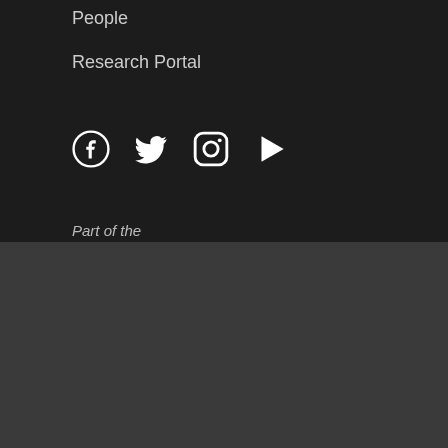People
Research Portal
[Figure (illustration): Social media icons: Facebook, Twitter, Instagram, YouTube]
Part of the
We use cookies to enable helpful features and collect information about how well our website and advertising are working.
Accept all cookies
Manage your cookie preferences